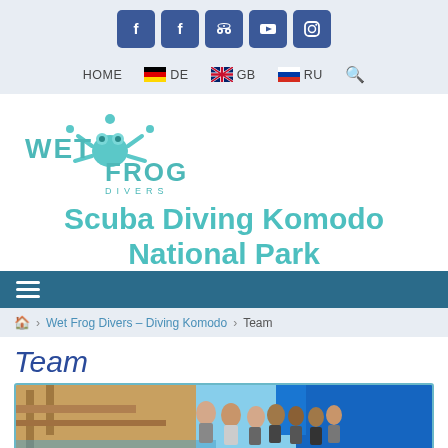[Figure (screenshot): Social media icon bar with Facebook, Facebook, TripAdvisor, YouTube, and Instagram icons in blue squares]
HOME  DE  GB  RU
[Figure (logo): Wet Frog Divers logo with teal frog splash design and text WET FROG DIVERS]
Scuba Diving Komodo National Park
≡
🏠 > Wet Frog Divers – Diving Komodo > Team
Team
[Figure (photo): Group photo of the Wet Frog Divers team at a dock/pier area with wooden structures and blue tarps, water visible in background]